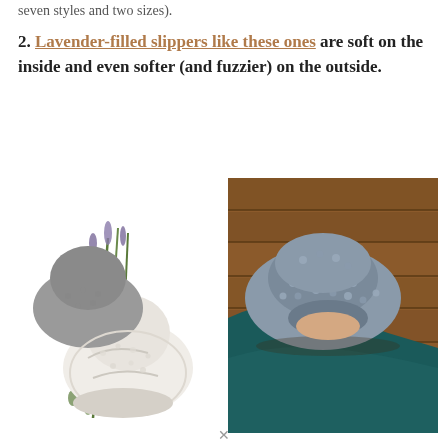seven styles and two sizes).
2. Lavender-filled slippers like these ones are soft on the inside and even softer (and fuzzier) on the outside.
[Figure (photo): Two fluffy lavender-filled slippers (grey and cream/white) displayed with lavender sprigs on a white background, alongside a photo of a person wearing a blue-grey fuzzy slipper on a wooden floor.]